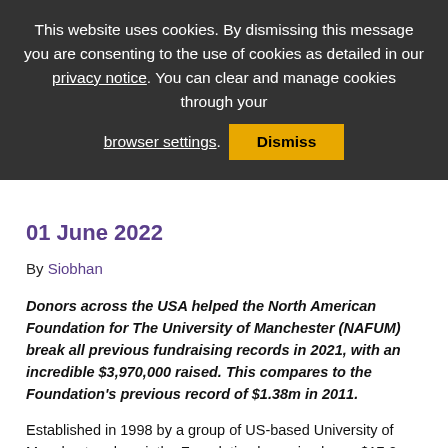This website uses cookies. By dismissing this message you are consenting to the use of cookies as detailed in our privacy notice. You can clear and manage cookies through your browser settings. Dismiss
01 June 2022
By Siobhan
Donors across the USA helped the North American Foundation for The University of Manchester (NAFUM) break all previous fundraising records in 2021, with an incredible $3,970,000 raised. This compares to the Foundation's previous record of $1.38m in 2011.
Established in 1998 by a group of US-based University of Manchester alumni, the Foundation has raised over $17.2m since its foundation; attracting